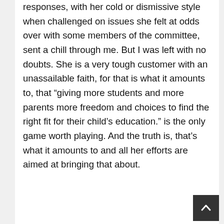responses, with her cold or dismissive style when challenged on issues she felt at odds over with some members of the committee, sent a chill through me. But I was left with no doubts. She is a very tough customer with an unassailable faith, for that is what it amounts to, that "giving more students and more parents more freedom and choices to find the right fit for their child's education." is the only game worth playing. And the truth is, that's what it amounts to and all her efforts are aimed at bringing that about.